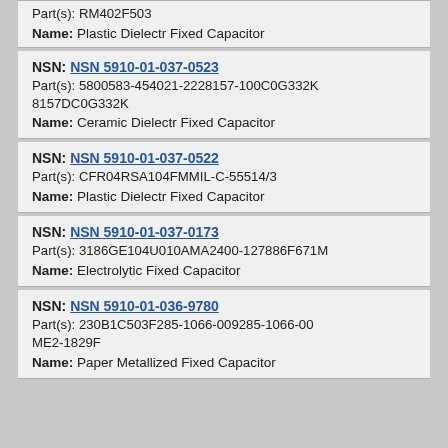Part(s): RM402F503
Name: Plastic Dielectr Fixed Capacitor
NSN: NSN 5910-01-037-0523
Part(s): 5800583-454021-2228157-100C0G332K 8157DC0G332K
Name: Ceramic Dielectr Fixed Capacitor
NSN: NSN 5910-01-037-0522
Part(s): CFR04RSA104FMMIL-C-55514/3
Name: Plastic Dielectr Fixed Capacitor
NSN: NSN 5910-01-037-0173
Part(s): 3186GE104U010AMA2400-127886F671M
Name: Electrolytic Fixed Capacitor
NSN: NSN 5910-01-036-9780
Part(s): 230B1C503F285-1066-009285-1066-00 ME2-1829F
Name: Paper Metallized Fixed Capacitor